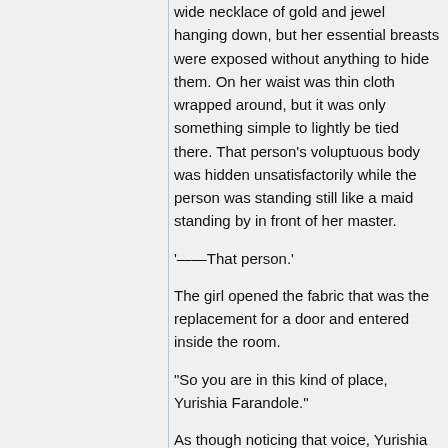wide necklace of gold and jewel hanging down, but her essential breasts were exposed without anything to hide them. On her waist was thin cloth wrapped around, but it was only something simple to lightly be tied there. That person's voluptuous body was hidden unsatisfactorily while the person was standing still like a maid standing by in front of her master.
'——That person.'
The girl opened the fabric that was the replacement for a door and entered inside the room.
“So you are in this kind of place, Yurishia Farandole.”
As though noticing that voice, Yurishia lifted her face.
“……ah”